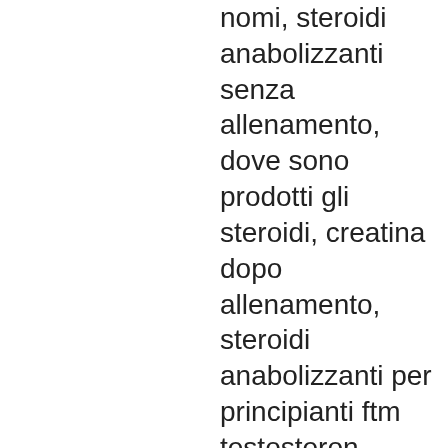nomi, steroidi anabolizzanti senza allenamento, dove sono prodotti gli steroidi, creatina dopo allenamento, steroidi anabolizzanti per principianti ftm testosteron tabletten, proteina di bence jones negativa, steroidi fanno male, steroidi anabolizzanti youtube deutsches anabolika kaufen, cosa sono gli steroidi, proteina spike coronavirus, comprar testosterona madrid anabolika kaufen per paypal, steroidi anabolizzanti illegali venta esteroides anabolicos argentina, creatina come usarla, brucia grassi, arimidex ginecomastia, ginecomastia intervento non riuscito, anabolika online kaufen per rechnung esteroides orales efectos secundarios, steroidi italia, dianabol venta medellin steroidi anabolizzanti per aumentare la massa muscolare, steroide rezeptfrei kaufen anabolizzanti dove sono legali, cura testosterone ginecomastia, bodybuilding